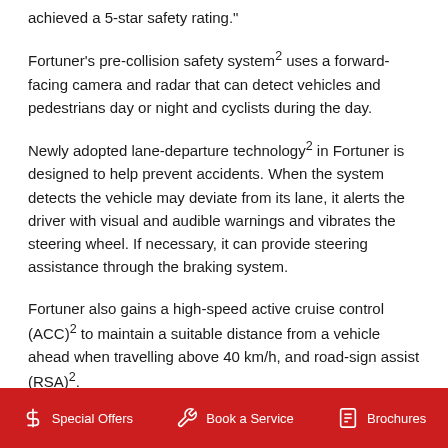achieved a 5-star safety rating."
Fortuner's pre-collision safety system² uses a forward-facing camera and radar that can detect vehicles and pedestrians day or night and cyclists during the day.
Newly adopted lane-departure technology² in Fortuner is designed to help prevent accidents. When the system detects the vehicle may deviate from its lane, it alerts the driver with visual and audible warnings and vibrates the steering wheel. If necessary, it can provide steering assistance through the braking system.
Fortuner also gains a high-speed active cruise control (ACC)² to maintain a suitable distance from a vehicle ahead when travelling above 40 km/h, and road-sign assist (RSA)².
Special Offers  Book a Service  Brochures